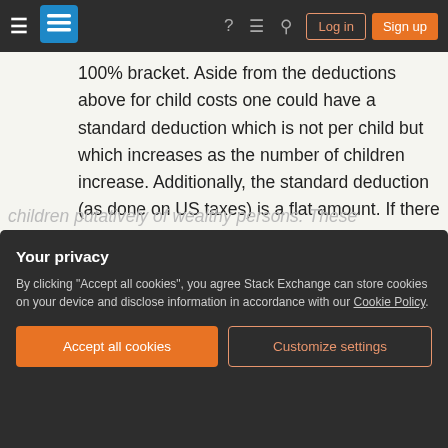Stack Exchange navigation bar with hamburger menu, logo, help, chat, search icons, Log in and Sign up buttons
100% bracket. Aside from the deductions above for child costs one could have a standard deduction which is not per child but which increases as the number of children increase. Additionally, the standard deduction (as done on US taxes) is a flat amount. If there deduction were 1% off the income tax rate per child this would be worth much more to the rich than to the poor.
One could have a floor below which income tax rate
Your privacy
By clicking "Accept all cookies", you agree Stack Exchange can store cookies on your device and disclose information in accordance with our Cookie Policy.
Accept all cookies
Customize settings
children putatively of wealthy persons. These children will be raised by...